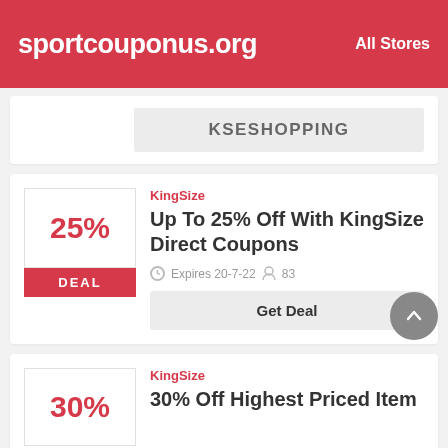sportcouponus.org   All Stores
KSESHOPPING
KingSize
Up To 25% Off With KingSize Direct Coupons
Expires 20-7-22   83
Get Deal
KingSize
30% Off Highest Priced Item